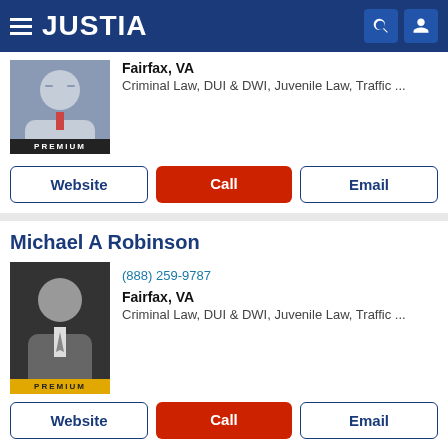JUSTIA
Fairfax, VA
Criminal Law, DUI & DWI, Juvenile Law, Traffic ...
Website | Call | Email
Michael A Robinson
(888) 259-9787
Fairfax, VA
Criminal Law, DUI & DWI, Juvenile Law, Traffic ...
Website | Call | Email
Jeffrey J. Renzulli
(703) 564-7212